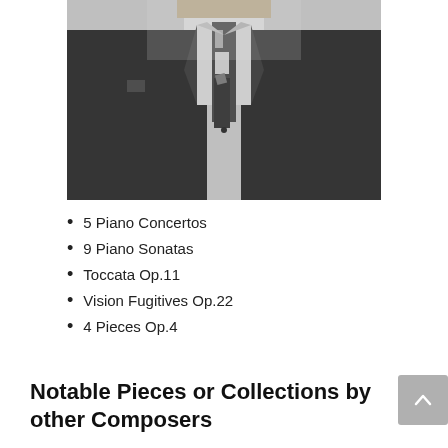[Figure (photo): Black and white photograph of a man in a dark suit with a patterned tie, torso and lower face visible, vintage style portrait.]
5 Piano Concertos
9 Piano Sonatas
Toccata Op.11
Vision Fugitives Op.22
4 Pieces Op.4
Notable Pieces or Collections by other Composers